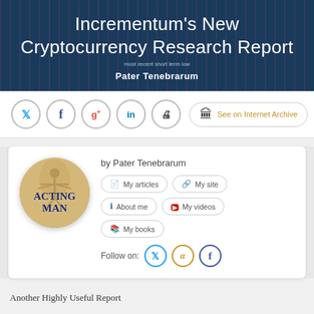Incrementum's New Cryptocurrency Research Report
most recent short term low
Pater Tenebrarum
[Figure (logo): Social share icons: Twitter, Facebook, Google+, LinkedIn, Print, and See on Internet Archive button]
[Figure (logo): Acting Man circular logo with Vitruvian man figure and text ACTING MAN]
by Pater Tenebrarum
My articles  My site  About me  My videos  My books  Follow on:
Another Highly Useful Report